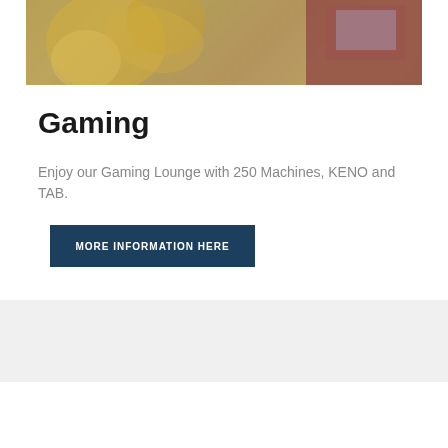[Figure (photo): Decorative casino/gaming themed image with colorful patterns and slot machines visible, partially cropped at top of page]
Gaming
Enjoy our Gaming Lounge with 250 Machines, KENO and TAB.
MORE INFORMATION HERE